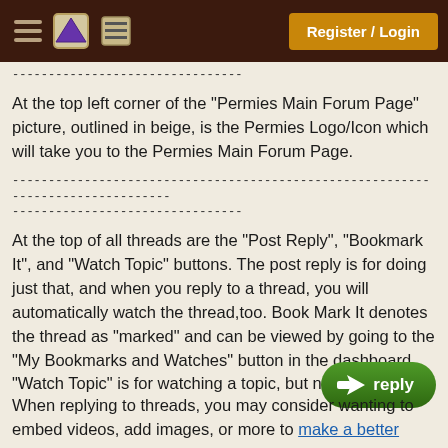Register / Login
--------------------------------
At the top left corner of the "Permies Main Forum Page" picture, outlined in beige, is the Permies Logo/Icon which will take you to the Permies Main Forum Page.
--------------------------------------------------------------------------------
--------------------------------
At the top of all threads are the "Post Reply", "Bookmark It", and "Watch Topic" buttons. The post reply is for doing just that, and when you reply to a thread, you will automatically watch the thread,too. Book Mark It denotes the thread as "marked" and can be viewed by going to the "My Bookmarks and Watches" button in the dashboard. "Watch Topic" is for watching a topic, but not replying.
When replying to threads, you may consider wanting to embed videos, add images, or more to make a better